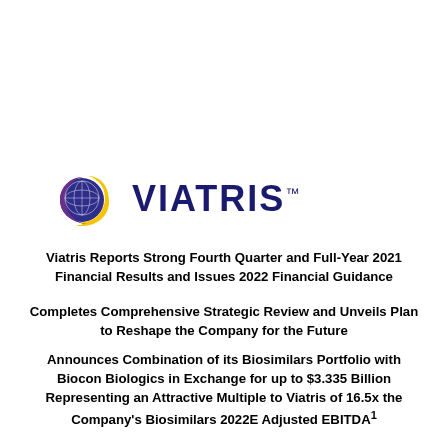[Figure (logo): Viatris logo with globe icon (blue/purple/yellow swirl) and bold blue VIATRIS text with TM mark]
Viatris Reports Strong Fourth Quarter and Full-Year 2021 Financial Results and Issues 2022 Financial Guidance
Completes Comprehensive Strategic Review and Unveils Plan to Reshape the Company for the Future
Announces Combination of its Biosimilars Portfolio with Biocon Biologics in Exchange for up to $3.335 Billion Representing an Attractive Multiple to Viatris of 16.5x the Company's Biosimilars 2022E Adjusted EBITDA¹